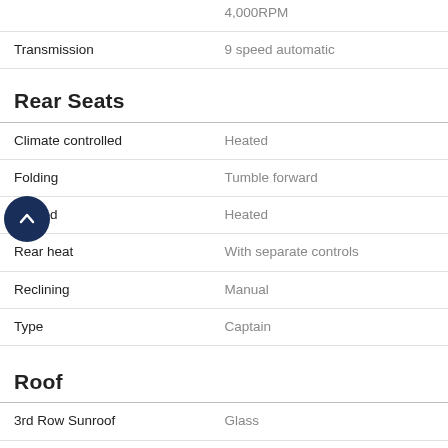| Feature | Value |
| --- | --- |
| Transmission | 9 speed automatic |
Rear Seats
| Feature | Value |
| --- | --- |
| Climate controlled | Heated |
| Folding | Tumble forward |
| Heated | Heated |
| Rear heat | With separate controls |
| Reclining | Manual |
| Type | Captain |
Roof
| Feature | Value |
| --- | --- |
| 3rd Row Sunroof | Glass |
| Extended sunroof | Extended sunroof |
| One-Touch Power Sunroof | One-touch power sunroof |
| Roof rack | Yes |
| Sunroof | Express open/close glass |